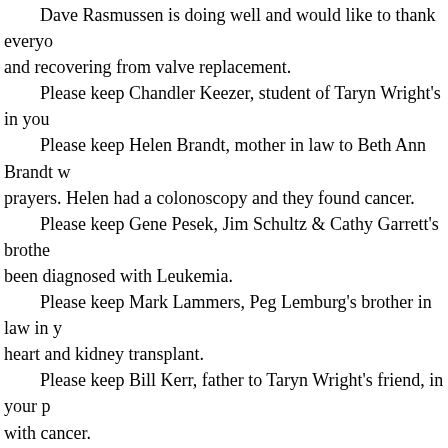Dave Rasmussen is doing well and would like to thank everyone and recovering from valve replacement.
Please keep Chandler Keezer, student of Taryn Wright's in your
Please keep Helen Brandt, mother in law to Beth Ann Brandt w prayers. Helen had a colonoscopy and they found cancer.
Please keep Gene Pesek, Jim Schultz & Cathy Garrett's brothe been diagnosed with Leukemia.
Please keep Mark Lammers, Peg Lemburg's brother in law in y heart and kidney transplant.
Please keep Bill Kerr, father to Taryn Wright's friend, in your p with cancer.
Prayers for Moses and his team and the LYF kids as they retur trip.
Prayers for Sue Rasmussen, Sue is recovering from surgery thi
Suffering from Cancer
Cheryl Klock, Julie Whitefoot's Sister
Deb Homolka, Rick Gilbert's Sister
Dawnasie Martin, Marcus Nation Sister